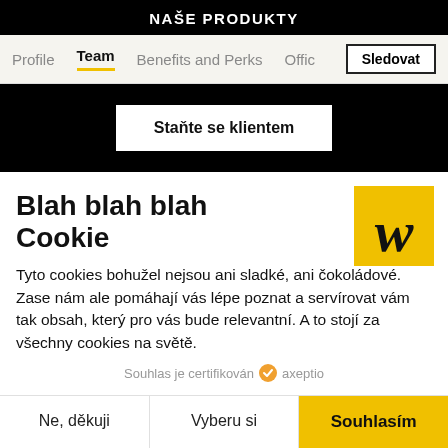NAŠE PRODUKTY
Profile   Team   Benefits and Perks   Offic   Sledovat
Staňte se klientem
Blah blah blah Cookie
[Figure (logo): Yellow square logo with stylized italic W in black]
Tyto cookies bohužel nejsou ani sladké, ani čokoládové. Zase nám ale pomáhají vás lépe poznat a servírovat vám tak obsah, který pro vás bude relevantní. A to stojí za všechny cookies na světě.
Souhlas je certifikován   axeptio
Ne, děkuji   Vyberu si   Souhlasím